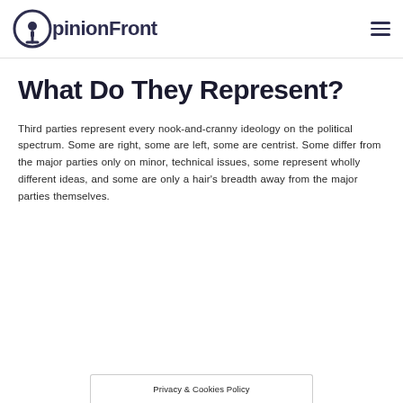OpinionFront
What Do They Represent?
Third parties represent every nook-and-cranny ideology on the political spectrum. Some are right, some are left, some are centrist. Some differ from the major parties only on minor, technical issues, some represent wholly different ideas, and some are only a hair's breadth away from the major parties themselves.
Privacy & Cookies Policy